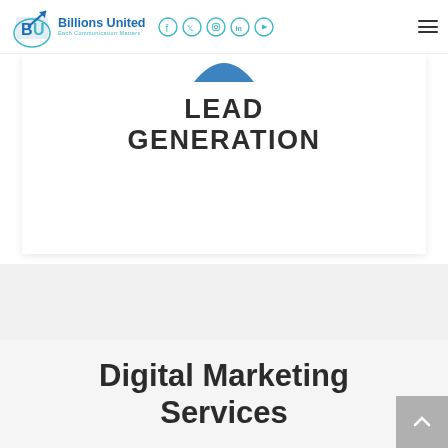Billions United — Each Communication Matters
[Figure (logo): Billions United logo with BU initials, globe/arrow graphic, and social media icons (Facebook, Twitter, Instagram, LinkedIn, YouTube) plus hamburger menu]
LEAD GENERATION
Digital Marketing Services